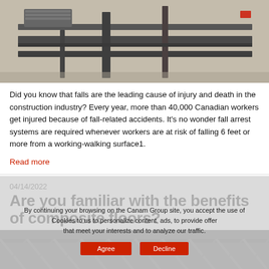[Figure (photo): Steel construction beams and rebar laid out on a concrete surface at a construction site.]
Did you know that falls are the leading cause of injury and death in the construction industry? Every year, more than 40,000 Canadian workers get injured because of fall-related accidents. It's no wonder fall arrest systems are required whenever workers are at risk of falling 6 feet or more from a working-walking surface1.
Read more
04/14/2022
Are you familiar with the benefits of composite floors?
[Figure (photo): Underside of a steel composite floor/truss structure at a construction site, partially obscured by a cookie consent overlay.]